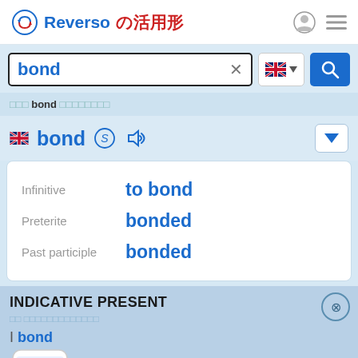Reverso の活用形
bond ×
動詞 bond の活用形一覧表
bond
| Form | Value |
| --- | --- |
| Infinitive | to bond |
| Preterite | bonded |
| Past participle | bonded |
INDICATIVE PRESENT
I bond
you bond
he/she/it bonds